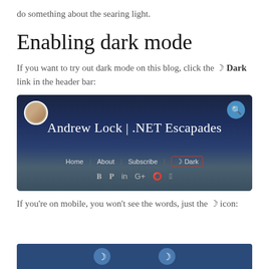do something about the searing light.
Enabling dark mode
If you want to try out dark mode on this blog, click the ☾ Dark link in the header bar:
[Figure (screenshot): Screenshot of Andrew Lock | .NET Escapades blog header with Home, About, Subscribe, and C Dark navigation links, avatar and search icon]
If you're on mobile, you won't see the words, just the ☾ icon:
[Figure (screenshot): Partial screenshot of mobile view showing crescent moon icons]